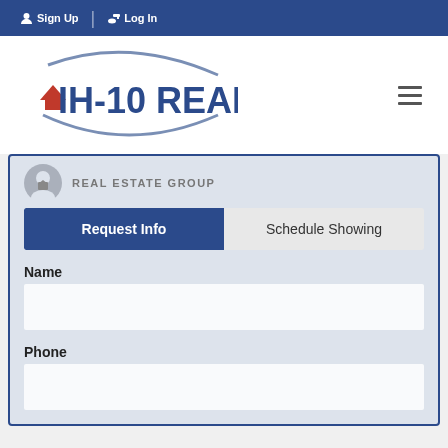Sign Up  Log In
[Figure (logo): IH-10 Realty logo with swoosh and house icon]
REAL ESTATE GROUP
Request Info
Schedule Showing
Name
Phone